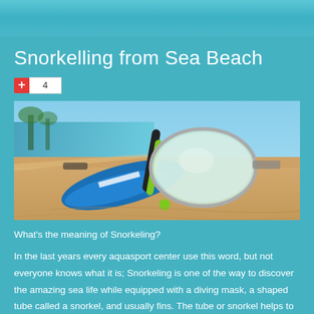Snorkelling from Sea Beach
[Figure (photo): Snorkeling equipment including a diving mask with green snorkel tube, blue fins, laid on sandy beach with ocean in background]
What's the meaning of Snorkeling?
In the last years every aquasport center use this word, but not everyone knows what it is; Snorkeling is one of the way to discover the amazing sea life while equipped with a diving mask, a shaped tube called a snorkel, and usually fins. The tube or snorkel helps to breathe while face-down at the